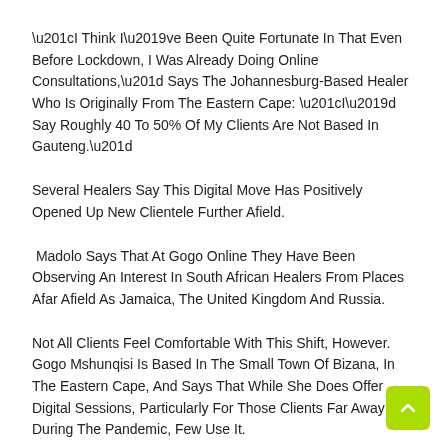“I Think I’ve Been Quite Fortunate In That Even Before Lockdown, I Was Already Doing Online Consultations,” Says The Johannesburg-Based Healer Who Is Originally From The Eastern Cape: “I’d Say Roughly 40 To 50% Of My Clients Are Not Based In Gauteng.”
Several Healers Say This Digital Move Has Positively Opened Up New Clientele Further Afield.
Madolo Says That At Gogo Online They Have Been Observing An Interest In South African Healers From Places Afar Afield As Jamaica, The United Kingdom And Russia.
Not All Clients Feel Comfortable With This Shift, However. Gogo Mshunqisi Is Based In The Small Town Of Bizana, In The Eastern Cape, And Says That While She Does Offer Digital Sessions, Particularly For Those Clients Far Away During The Pandemic, Few Use It.